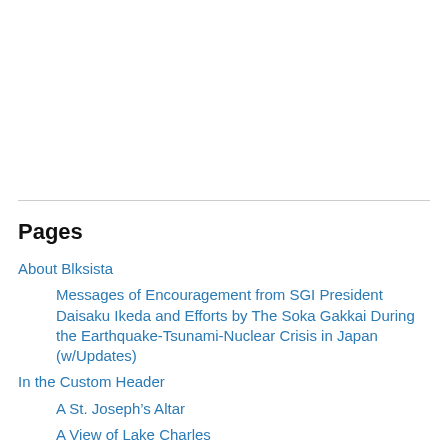Pages
About Blksista
Messages of Encouragement from SGI President Daisaku Ikeda and Efforts by The Soka Gakkai During the Earthquake-Tsunami-Nuclear Crisis in Japan (w/Updates)
In the Custom Header
A St. Joseph’s Altar
A View of Lake Charles
Beignets from Cafe du Monde